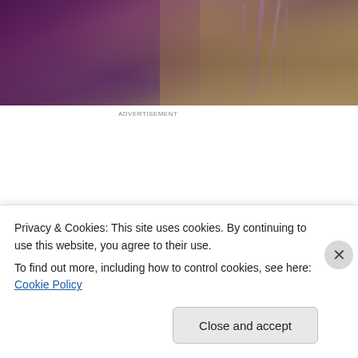[Figure (photo): Top photo strip showing a person with long hair and purple lighting/streaks in the background]
[Figure (screenshot): Advertisement banner with beige background. Headline: 'Professionally designed sites in less than a week'. Green 'Explore options' button. Mockup screenshots of website designs on the right side.]
Privacy & Cookies: This site uses cookies. By continuing to use this website, you agree to their use.
To find out more, including how to control cookies, see here: Cookie Policy
Close and accept